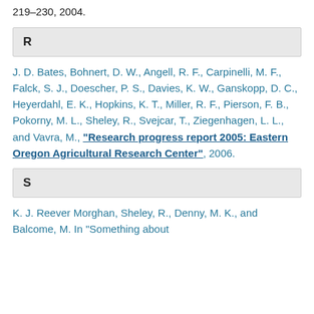219–230, 2004.
R
J. D. Bates, Bohnert, D. W., Angell, R. F., Carpinelli, M. F., Falck, S. J., Doescher, P. S., Davies, K. W., Ganskopp, D. C., Heyerdahl, E. K., Hopkins, K. T., Miller, R. F., Pierson, F. B., Pokorny, M. L., Sheley, R., Svejcar, T., Ziegenhagen, L. L., and Vavra, M., "Research progress report 2005: Eastern Oregon Agricultural Research Center", 2006.
S
K. J. Reever Morghan, Sheley, R., Denny, M. K., and Balcome, M. In "Something about...